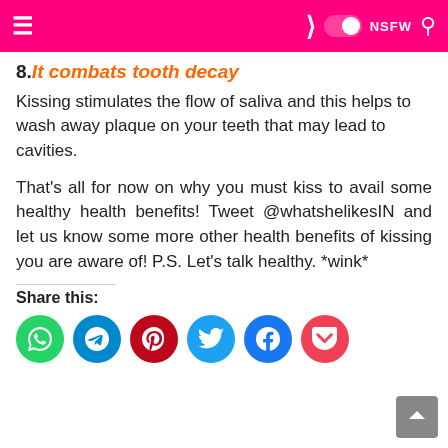≡  ❯ ⬤ NSFW 🔍
8. It combats tooth decay
Kissing stimulates the flow of saliva and this helps to wash away plaque on your teeth that may lead to cavities.
That's all for now on why you must kiss to avail some healthy health benefits! Tweet @whatshelikesIN and let us know some more other health benefits of kissing you are aware of! P.S. Let's talk healthy. *wink*
Share this:
[Figure (infographic): Row of social share buttons: WhatsApp (green), Telegram (blue), Pinterest (red), Twitter (cyan), Facebook (blue), Pocket (pink-red)]